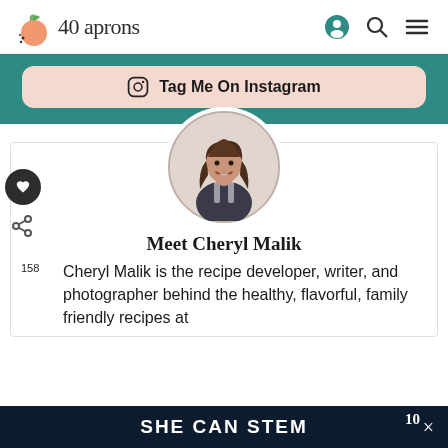40 aprons
[Figure (illustration): Teal banner with Instagram button saying Tag Me On Instagram]
[Figure (photo): Circular profile photo of Cheryl Malik, a woman with long brown wavy hair wearing a dark apron, smiling in a kitchen setting]
Meet Cheryl Malik
Cheryl Malik is the recipe developer, writer, and photographer behind the healthy, flavorful, family friendly recipes at
SHE CAN STEM